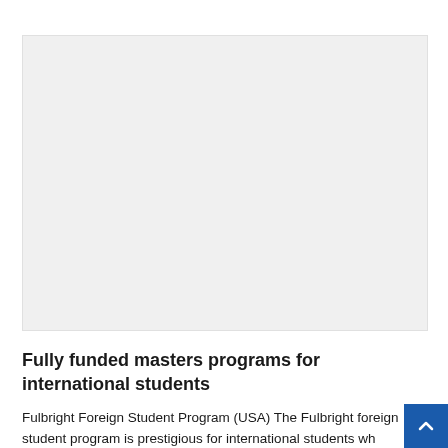[Figure (photo): Large image placeholder with light gray background, representing a photo related to fully funded masters programs for international students]
Fully funded masters programs for international students
Fulbright Foreign Student Program (USA) The Fulbright foreign student program is prestigious for international students wh